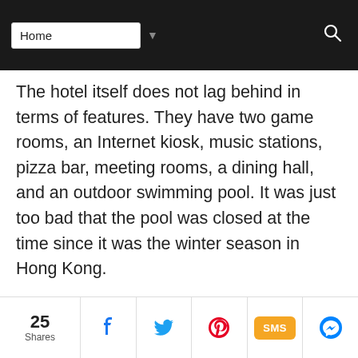Home (navigation dropdown)
The hotel itself does not lag behind in terms of features. They have two game rooms, an Internet kiosk, music stations, pizza bar, meeting rooms, a dining hall, and an outdoor swimming pool. It was just too bad that the pool was closed at the time since it was the winter season in Hong Kong.
[Figure (photo): Overhead view of Asian food spread including a bowl of noodle soup with greens and fish balls, a glass of red drink, scrambled eggs, sausages, and other dishes]
25 Shares | Facebook | Twitter | Pinterest | SMS | Messenger